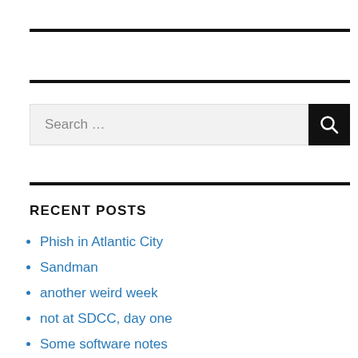[Figure (other): Horizontal black rule near top of page]
[Figure (other): Second horizontal black rule]
Search …
[Figure (other): Third horizontal black rule]
RECENT POSTS
Phish in Atlantic City
Sandman
another weird week
not at SDCC, day one
Some software notes